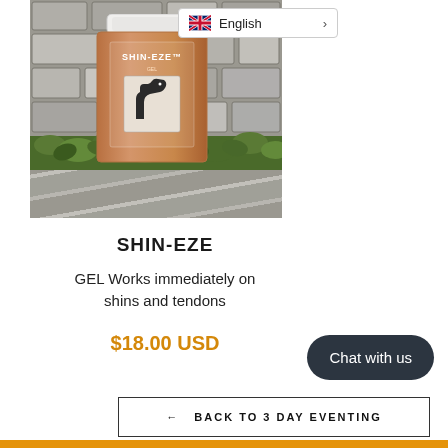[Figure (photo): Product photo of SHIN-EZE canister (brown/orange container with horse label) placed against a stone wall with green moss and ivy in the foreground]
English
SHIN-EZE
GEL Works immediately on shins and tendons
$18.00 USD
Chat with us
← BACK TO 3 DAY EVENTING